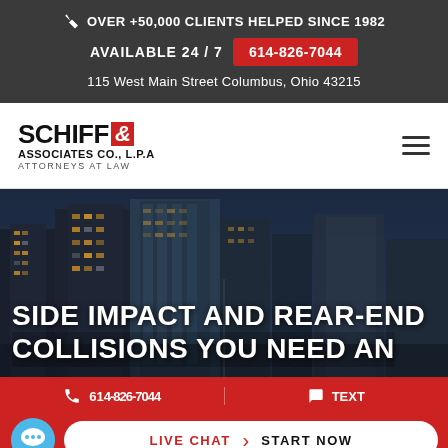OVER +50,000 CLIENTS HELPED SINCE 1982
AVAILABLE 24 / 7   614-826-7044
115 West Main Street Columbus, Ohio 43215
[Figure (logo): Schiff & Associates Co., L.P.A Attorneys at Law logo]
SIDE IMPACT AND REAR-END COLLISIONS YOU NEED AN
614-826-7044   TEXT
LIVE CHAT  START NOW